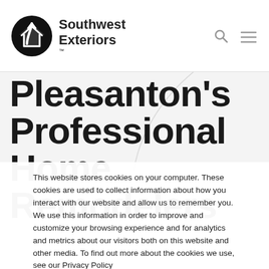[Figure (logo): Southwest Exteriors logo with circular black icon featuring a house with an upward arrow, next to bold text reading 'Southwest Exteriors™']
[Figure (other): Navigation icons: search magnifying glass and hamburger menu icon in grey]
Pleasanton's Professional Home Remodelers
This website stores cookies on your computer. These cookies are used to collect information about how you interact with our website and allow us to remember you. We use this information in order to improve and customize your browsing experience and for analytics and metrics about our visitors both on this website and other media. To find out more about the cookies we use, see our Privacy Policy
Accept